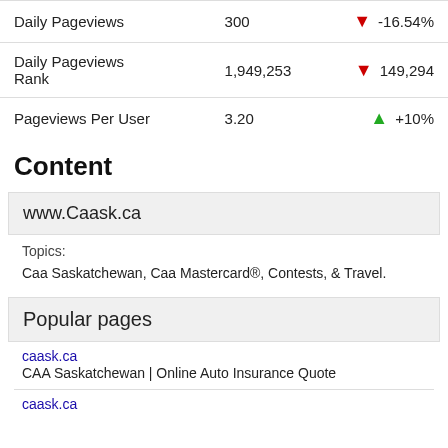| Metric | Value | Change |
| --- | --- | --- |
| Daily Pageviews | 300 | ▼ -16.54% |
| Daily Pageviews Rank | 1,949,253 | ▼ 149,294 |
| Pageviews Per User | 3.20 | ▲ +10% |
Content
www.Caask.ca
Topics:
Caa Saskatchewan, Caa Mastercard®, Contests, & Travel.
Popular pages
caask.ca
CAA Saskatchewan | Online Auto Insurance Quote
caask.ca